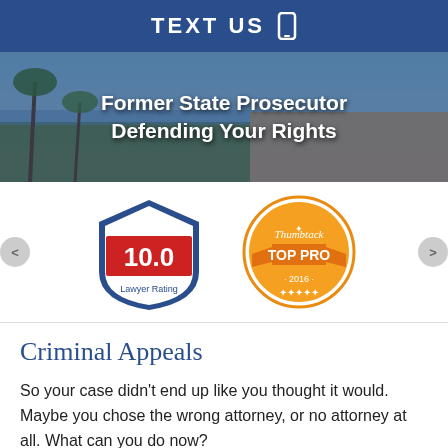TEXT US
[Figure (screenshot): Hero banner with outdoor beach/park scene background and overlay text: 'Former State Prosecutor Defending Your Rights']
[Figure (infographic): Two badges side by side: Justia 10.0 Lawyer Rating badge (blue shield), and Thumbtack Top Pro 2016 badge (orange circular stamp)]
Criminal Appeals
So your case didn't end up like you thought it would. Maybe you chose the wrong attorney, or no attorney at all. What can you do now?